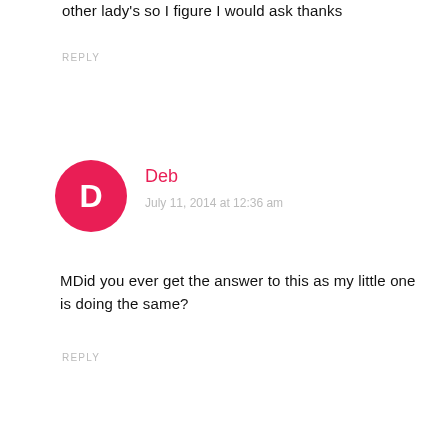other lady's so I figure I would ask thanks
REPLY
Deb
July 11, 2014 at 12:36 am
MDid you ever get the answer to this as my little one is doing the same?
REPLY